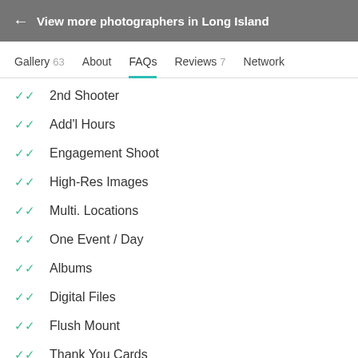← View more photographers in Long Island
Gallery 63   About   FAQs   Reviews 7   Network
2nd Shooter
Add'l Hours
Engagement Shoot
High-Res Images
Multi. Locations
One Event / Day
Albums
Digital Files
Flush Mount
Thank You Cards